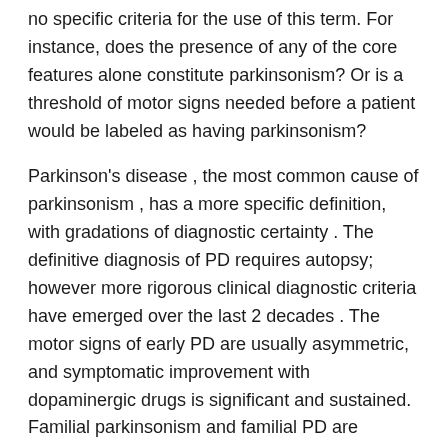no specific criteria for the use of this term. For instance, does the presence of any of the core features alone constitute parkinsonism? Or is a threshold of motor signs needed before a patient would be labeled as having parkinsonism?
Parkinson's disease , the most common cause of parkinsonism , has a more specific definition, with gradations of diagnostic certainty . The definitive diagnosis of PD requires autopsy; however more rigorous clinical diagnostic criteria have emerged over the last 2 decades . The motor signs of early PD are usually asymmetric, and symptomatic improvement with dopaminergic drugs is significant and sustained. Familial parkinsonism and familial PD are entities that may follow an autosomal dominant or autosomal recessive pattern of inheritance.
Clinical Features Epidemiol...